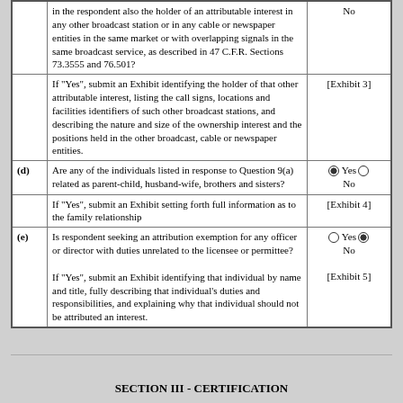|  | Question | Answer |
| --- | --- | --- |
|  | ...in the respondent also the holder of an attributable interest in any other broadcast station or in any cable or newspaper entities in the same market or with overlapping signals in the same broadcast service, as described in 47 C.F.R. Sections 73.3555 and 76.501? | No |
|  | If "Yes", submit an Exhibit identifying the holder of that other attributable interest, listing the call signs, locations and facilities identifiers of such other broadcast stations, and describing the nature and size of the ownership interest and the positions held in the other broadcast, cable or newspaper entities. | [Exhibit 3] |
| (d) | Are any of the individuals listed in response to Question 9(a) related as parent-child, husband-wife, brothers and sisters? | Yes (filled) / No (empty) |
|  | If "Yes", submit an Exhibit setting forth full information as to the family relationship | [Exhibit 4] |
| (e) | Is respondent seeking an attribution exemption for any officer or director with duties unrelated to the licensee or permittee?

If "Yes", submit an Exhibit identifying that individual by name and title, fully describing that individual's duties and responsibilities, and explaining why that individual should not be attributed an interest. | Yes (empty) / No (filled)
[Exhibit 5] |
SECTION III - CERTIFICATION